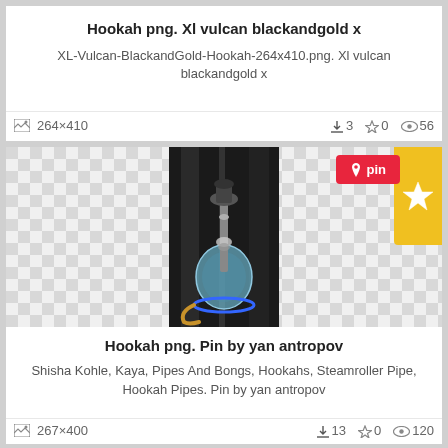Hookah png. Xl vulcan blackandgold x
XL-Vulcan-BlackandGold-Hookah-264x410.png. Xl vulcan blackandgold x
264×410   ⬇3  ☆0  👁56
[Figure (photo): Hookah image with checkerboard transparent background, pin button, and star button]
Hookah png. Pin by yan antropov
Shisha Kohle, Kaya, Pipes And Bongs, Hookahs, Steamroller Pipe, Hookah Pipes. Pin by yan antropov
267×400   ⬇13  ☆0  👁120